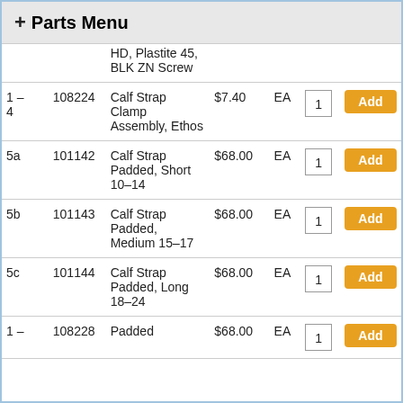+ Parts Menu
| Ref | Part# | Description | Price | Unit | Qty | Action |
| --- | --- | --- | --- | --- | --- | --- |
|  |  | HD, Plastite 45, BLK ZN Screw |  |  |  |  |
| 1 – 4 | 108224 | Calf Strap Clamp Assembly, Ethos | $7.40 | EA | 1 | Add |
| 5a | 101142 | Calf Strap Padded, Short 10–14 | $68.00 | EA | 1 | Add |
| 5b | 101143 | Calf Strap Padded, Medium 15–17 | $68.00 | EA | 1 | Add |
| 5c | 101144 | Calf Strap Padded, Long 18–24 | $68.00 | EA | 1 | Add |
| 1 – | 108228 | Padded | $68.00 | EA | 1 | Add |